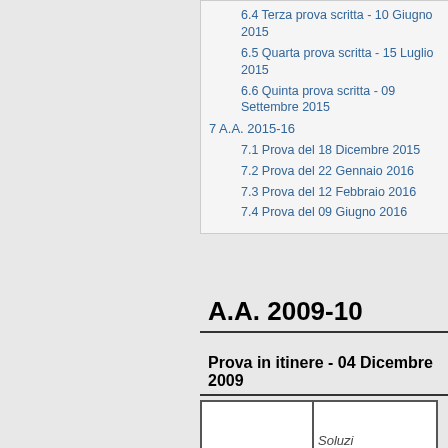6.4 Terza prova scritta - 10 Giugno 2015
6.5 Quarta prova scritta - 15 Luglio 2015
6.6 Quinta prova scritta - 09 Settembre 2015
7 A.A. 2015-16
7.1 Prova del 18 Dicembre 2015
7.2 Prova del 22 Gennaio 2016
7.3 Prova del 12 Febbraio 2016
7.4 Prova del 09 Giugno 2016
A.A. 2009-10
Prova in itinere - 04 Dicembre 2009
|  | Soluzi... |